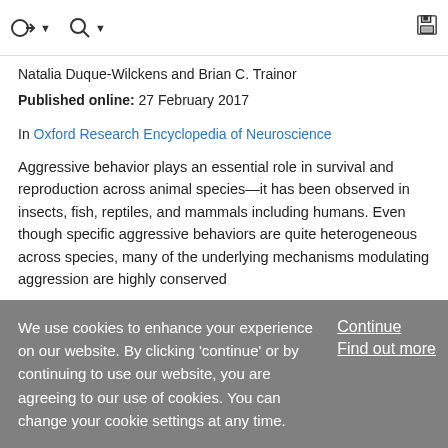toolbar with navigation icons
Natalia Duque-Wilckens and Brian C. Trainor
Published online: 27 February 2017
In Oxford Research Encyclopedia of Neuroscience
Aggressive behavior plays an essential role in survival and reproduction across animal species—it has been observed in insects, fish, reptiles, and mammals including humans. Even though specific aggressive behaviors are quite heterogeneous across species, many of the underlying mechanisms modulating aggression are highly conserved
We use cookies to enhance your experience on our website. By clicking 'continue' or by continuing to use our website, you are agreeing to our use of cookies. You can change your cookie settings at any time.